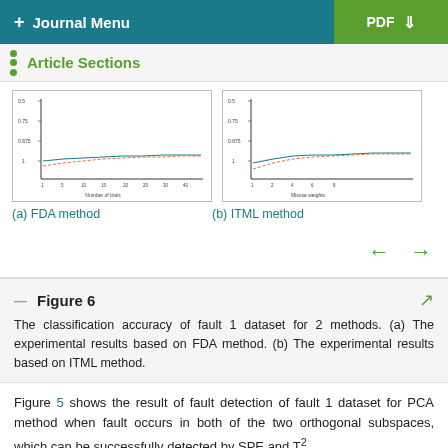+ Journal Menu | PDF ↓
Article Sections
[Figure (continuous-plot): Two small line/scatter charts showing classification accuracy results: (a) FDA method showing data vs number of raids, (b) ITML method showing cluster weights]
(a) FDA method   (b) ITML method
Figure 6
The classification accuracy of fault 1 dataset for 2 methods. (a) The experimental results based on FDA method. (b) The experimental results based on ITML method.
Figure 5 shows the result of fault detection of fault 1 dataset for PCA method when fault occurs in both of the two orthogonal subspaces, which can be successfully detected by SPE and T²